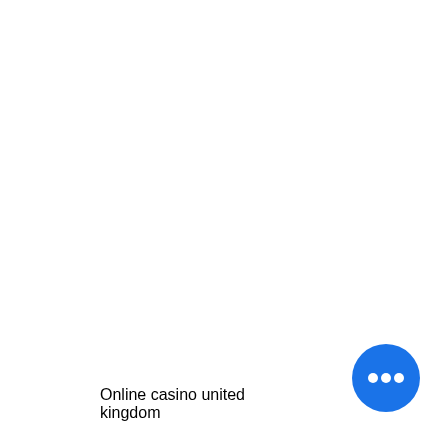Online casino united kingdom
[Figure (other): Blue circular FAB button with three white horizontal dots (ellipsis/more options icon)]